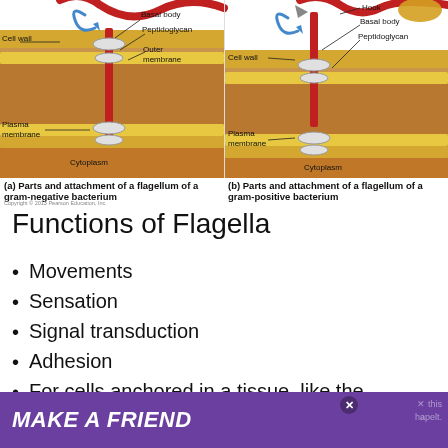[Figure (illustration): Two-panel biological diagram showing parts and attachment of a flagellum. Left panel (a): gram-negative bacterium with labeled parts: Cell wall, Basal body, Peptidoglycan, Outer membrane, Plasma membrane, Cytoplasm. Right panel (b): gram-positive bacterium with labeled parts: Hook, Basal body, Peptidoglycan, Cell wall, Plasma membrane, Cytoplasm.]
(a) Parts and attachment of a flagellum of a gram-negative bacterium
(b) Parts and attachment of a flagellum of a gram-positive bacterium
Copyright © 2013 Pearson Education, Inc.
Functions of Flagella
Movements
Sensation
Signal transduction
Adhesion
For cells anchored in a tissue, like the